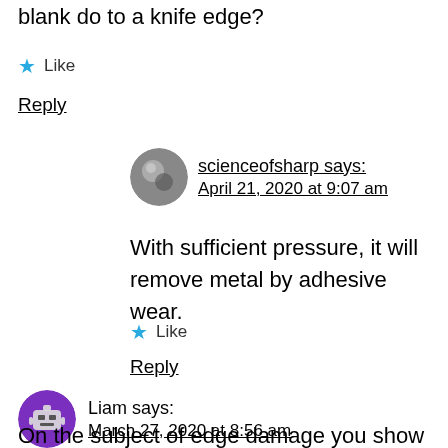blank do to a knife edge?
★ Like
Reply
scienceofsharp says:
April 21, 2020 at 9:07 am
With sufficient pressure, it will remove metal by adhesive wear.
★ Like
Reply
Liam says:
March 27, 2020 at 8:56 am
On the subject of edge damage you show